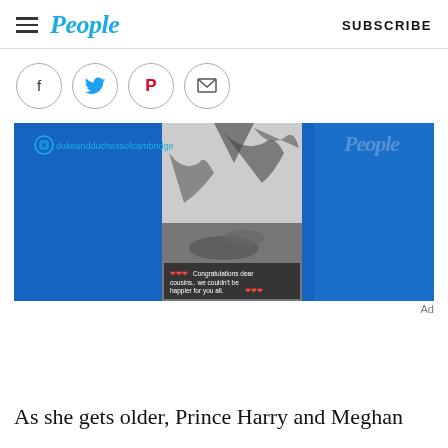People  SUBSCRIBE
[Figure (other): Social sharing icons: Facebook, Twitter, Pinterest, Email]
[Figure (screenshot): Instagram post from dukeandduchessofcambridge showing a black and white photo of a couple lying on grass under a tree, with text overlay reading: ❤️❤️❤️ Congratulations dear cousins.. we couldn't be happier for you all. ❤️❤️❤️. People magazine watermark in top right corner.]
Ad
As she gets older, Prince Harry and Meghan